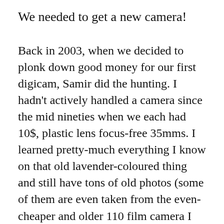We needed to get a new camera!
Back in 2003, when we decided to plonk down good money for our first digicam, Samir did the hunting. I hadn't actively handled a camera since the mid nineties when we each had 10$, plastic lens focus-free 35mms. I learned pretty-much everything I know on that old lavender-coloured thing and still have tons of old photos (some of them are even taken from the even-cheaper and older 110 film camera I had when I was six). None of the shots are as experimental as the ones I take now but they were a lot of